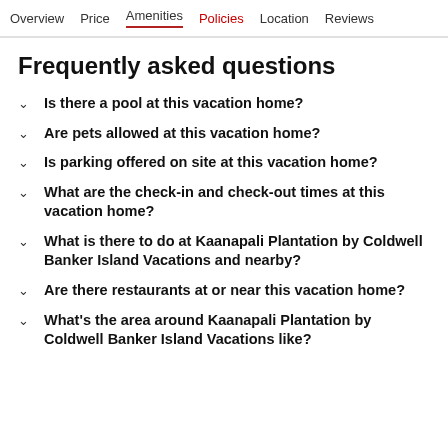Overview  Price  Amenities  Policies  Location  Reviews
Frequently asked questions
Is there a pool at this vacation home?
Are pets allowed at this vacation home?
Is parking offered on site at this vacation home?
What are the check-in and check-out times at this vacation home?
What is there to do at Kaanapali Plantation by Coldwell Banker Island Vacations and nearby?
Are there restaurants at or near this vacation home?
What's the area around Kaanapali Plantation by Coldwell Banker Island Vacations like?